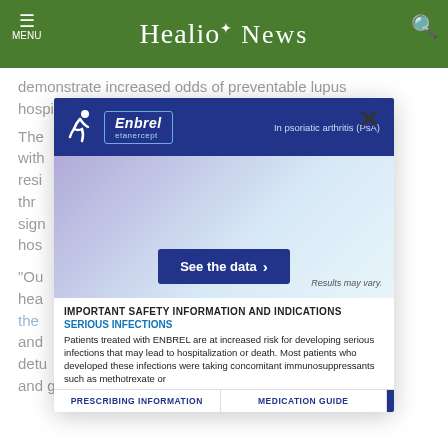MENU  Healio* News
demonstrate increased odds of preventable lupus hospitalizations (OR = 1.302; 95% CI, 1.119–1.515).
The ... with ... resi... er thr... sign... hos...
[Figure (screenshot): Enbrel (etanercept) advertisement modal overlay. Header: dark blue bar with Enbrel logo and 'In psoriatic arthritis (PsA)' text. Visual area: gradient purple-to-light blue background. 'See the data >' button. 'Results may vary.' text. Safety section: 'IMPORTANT SAFETY INFORMATION AND INDICATIONS' in bold, 'SERIOUS INFECTIONS' in blue, body text about ENBREL patient risk. Footer links: 'PRESCRIBING INFORMATION' and 'MEDICATION GUIDE'.]
"Ou... ist hea... the ... rs and... detu... y and genetics. However, they should also capture and